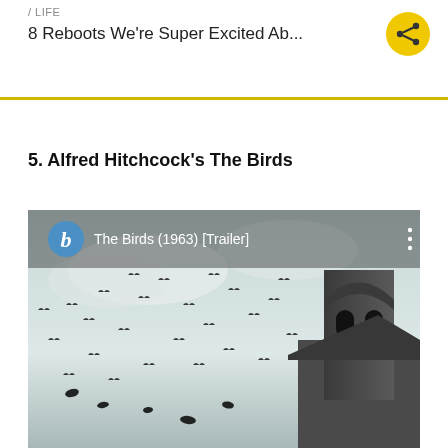/ LIFE
8 Reboots We're Super Excited Ab...
5. Alfred Hitchcock's The Birds
[Figure (screenshot): Video thumbnail for 'The Birds (1963) [Trailer]' showing a church steeple with many birds flying in a cloudy sky, with a blue 'b' icon logo and video title overlay at the top.]